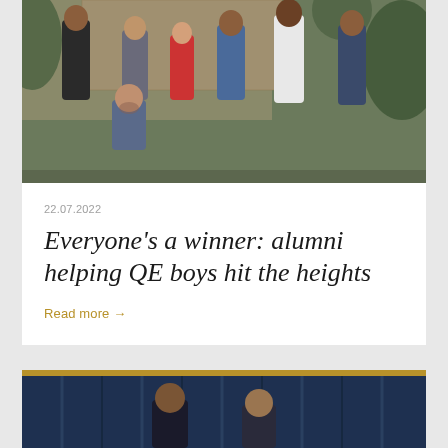[Figure (photo): Group photo of alumni and QE boys standing outside against a wooden wall and green foliage background. Seven people are visible, some standing, one kneeling in front.]
22.07.2022
Everyone's a winner: alumni helping QE boys hit the heights
Read more →
[Figure (photo): Photo showing two people in formal attire against a blue curtain/drape backdrop, partially visible at bottom of page.]